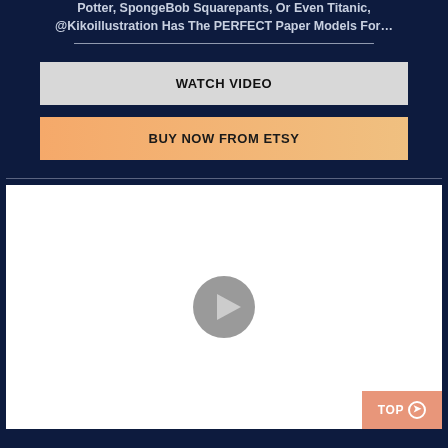Potter, SpongeBob Squarepants, Or Even Titanic, @Kikoillustration Has The PERFECT Paper Models For…
— — — — — — — — — — — — — — — — — — — — —
WATCH VIDEO
BUY NOW FROM ETSY
[Figure (screenshot): Embedded video player with white background and a gray circular play button in the center. A salmon/coral colored 'TOP ⊙' button appears in the bottom-right corner.]